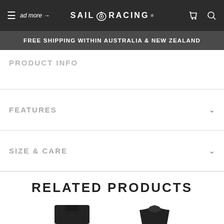SAIL RACING
FREE SHIPPING WITHIN AUSTRALIA & NEW ZEALAND
PRODUCT INFO
FEATURES
SIZE & CARE
RELATED PRODUCTS
[Figure (photo): Two dark-colored sailing apparel product thumbnails shown at the bottom of the page]